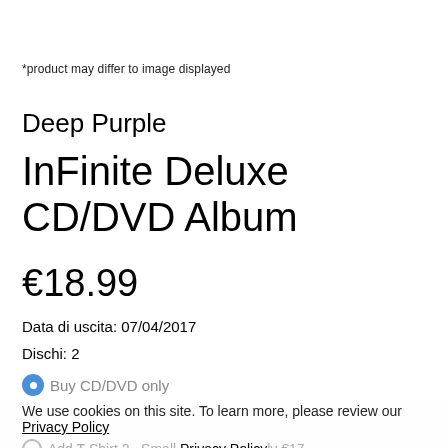*product may differ to image displayed
Deep Purple
InFinite Deluxe CD/DVD Album
€18.99
Data di uscita: 07/04/2017
Dischi: 2
Buy CD/DVD only
We use cookies on this site. To learn more, please review our Privacy Policy
Add T-Shirt 2  Small  only €17
Accept & Continue   Review Policy
Add to Cart   Contatti